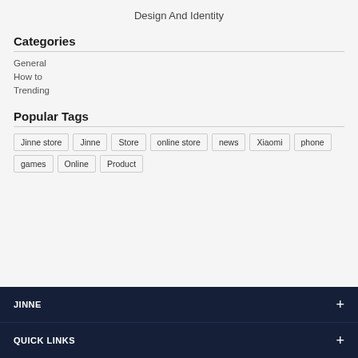Design And Identity
Categories
General
How to
Trending
Popular Tags
Jinne store
Jinne
Store
online store
news
Xiaomi
phone
games
Online
Product
JINNE
QUICK LINKS